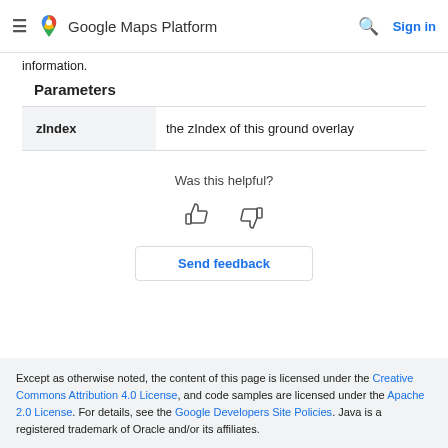Google Maps Platform — Sign in
information.
Parameters
|  |  |
| --- | --- |
| zIndex | the zIndex of this ground overlay |
Was this helpful?
[Figure (illustration): Thumbs up and thumbs down icons for helpful feedback]
Send feedback
Except as otherwise noted, the content of this page is licensed under the Creative Commons Attribution 4.0 License, and code samples are licensed under the Apache 2.0 License. For details, see the Google Developers Site Policies. Java is a registered trademark of Oracle and/or its affiliates.